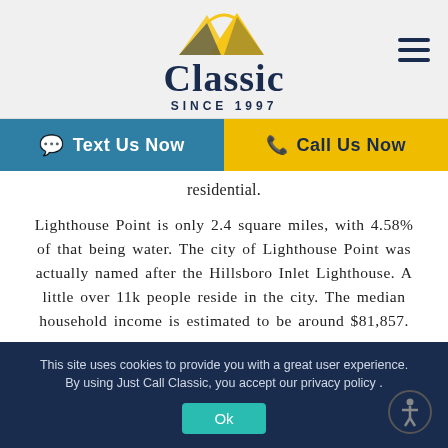[Figure (logo): Classic Since 1997 logo with mountain/sun graphic and hamburger menu icon]
Text Us Now   Call Us Now
residential.
Lighthouse Point is only 2.4 square miles, with 4.58% of that being water. The city of Lighthouse Point was actually named after the Hillsboro Inlet Lighthouse. A little over 11k people reside in the city. The median household income is estimated to be around $81,857.
This site uses cookies to provide you with a great user experience. By using Just Call Classic, you accept our privacy policy . Ok